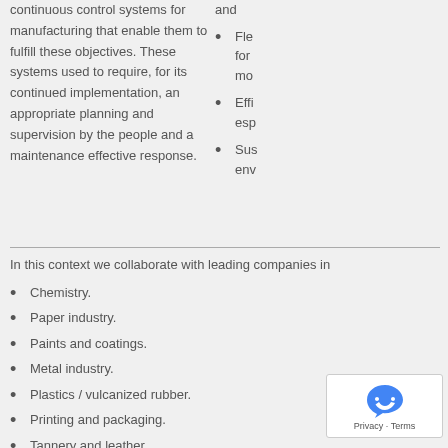continuous control systems for manufacturing that enable them to fulfill these objectives. These systems used to require, for its continued implementation, an appropriate planning and supervision by the people and a maintenance effective response.
Fle... for... mo...
Effi... esp...
Sus... env...
In this context we collaborate with leading companies in
Chemistry.
Paper industry.
Paints and coatings.
Metal industry.
Plastics / vulcanized rubber.
Printing and packaging.
Tannery and leather.